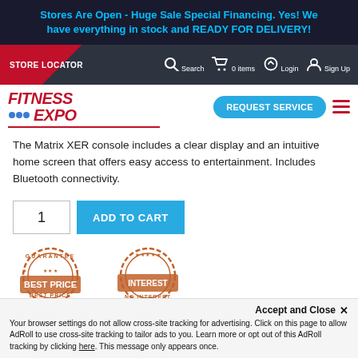Stores Are Open - Huge Sale Special Financing. Yes! We have everything in stock and READY FOR DELIVERY!
STORE LOCATOR
[Figure (logo): Fitness Expo logo with red italic bold text and blue tagline icons]
REQUEST SERVICE
The Matrix XER console includes a clear display and an intuitive home screen that offers easy access to entertainment. Includes Bluetooth connectivity.
1   ADD TO CART
[Figure (illustration): Two circular orange stamp badges showing 'GUARANTEE BEST PRICE' and 'NO INTEREST' promotions]
Accept and Close ✕
Your browser settings do not allow cross-site tracking for advertising. Click on this page to allow AdRoll to use cross-site tracking to tailor ads to you. Learn more or opt out of this AdRoll tracking by clicking here. This message only appears once.